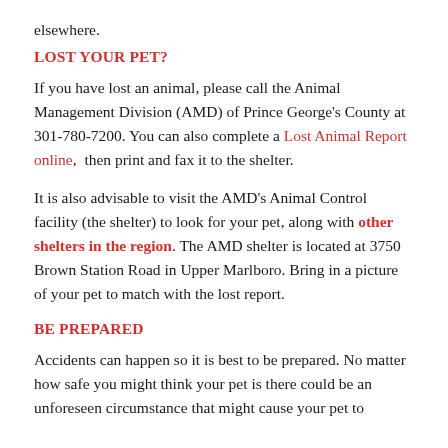elsewhere.
LOST YOUR PET?
If you have lost an animal, please call the Animal Management Division (AMD) of Prince George's County at 301-780-7200. You can also complete a Lost Animal Report online,  then print and fax it to the shelter.
It is also advisable to visit the AMD's Animal Control facility (the shelter) to look for your pet, along with other shelters in the region. The AMD shelter is located at 3750 Brown Station Road in Upper Marlboro. Bring in a picture of your pet to match with the lost report.
BE PREPARED
Accidents can happen so it is best to be prepared. No matter how safe you might think your pet is there could be an unforeseen circumstance that might cause your pet to get lost. It is best to be prepared. Always have a foto...